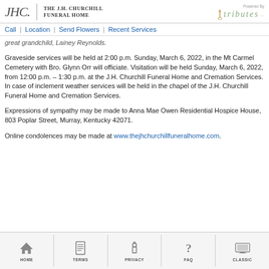The J.H. Churchill Funeral Home | Powered By tributes
Call | Location | Send Flowers | Recent Services
great grandchild, Lainey Reynolds.
Graveside services will be held at 2:00 p.m. Sunday, March 6, 2022, in the Mt Carmel Cemetery with Bro. Glynn Orr will officiate. Visitation will be held Sunday, March 6, 2022, from 12:00 p.m. – 1:30 p.m. at the J.H. Churchill Funeral Home and Cremation Services. In case of inclement weather services will be held in the chapel of the J.H. Churchill Funeral Home and Cremation Services.
Expressions of sympathy may be made to Anna Mae Owen Residential Hospice House, 803 Poplar Street, Murray, Kentucky 42071.
Online condolences may be made at www.thejhchurchillfuneralhome.com.
HOME | TERMS | PRIVACY | FAQ | CLASSIC